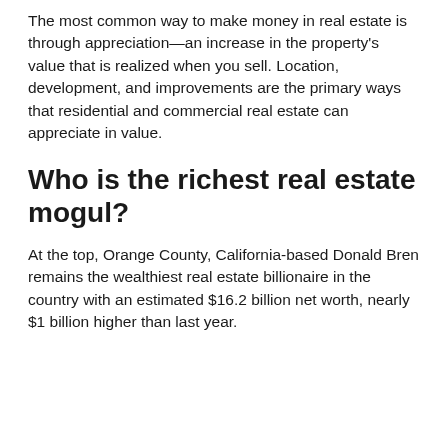The most common way to make money in real estate is through appreciation—an increase in the property's value that is realized when you sell. Location, development, and improvements are the primary ways that residential and commercial real estate can appreciate in value.
Who is the richest real estate mogul?
At the top, Orange County, California-based Donald Bren remains the wealthiest real estate billionaire in the country with an estimated $16.2 billion net worth, nearly $1 billion higher than last year.